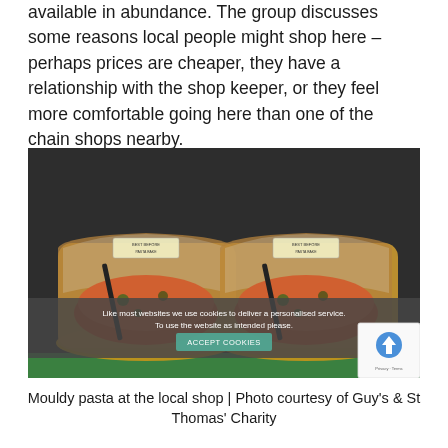available in abundance. The group discusses some reasons local people might shop here – perhaps prices are cheaper, they have a relationship with the shop keeper, or they feel more comfortable going here than one of the chain shops nearby.
[Figure (photo): Two clear plastic trays of mouldy pasta with dark utensils inside, displayed against a dark background with a green shelf bar at the bottom. A cookie consent overlay appears over the lower portion of the image.]
Mouldy pasta at the local shop | Photo courtesy of Guy's & St Thomas' Charity